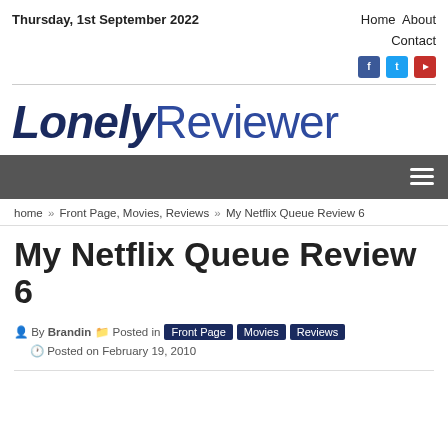Thursday, 1st September 2022  Home  About  Contact
[Figure (logo): Lonely Reviewer website logo in dark navy blue italic and regular fonts]
[Figure (screenshot): Dark grey navigation bar with hamburger menu icon on right]
home » Front Page, Movies, Reviews » My Netflix Queue Review 6
My Netflix Queue Review 6
By Brandin  Posted in Front Page Movies Reviews  Posted on February 19, 2010